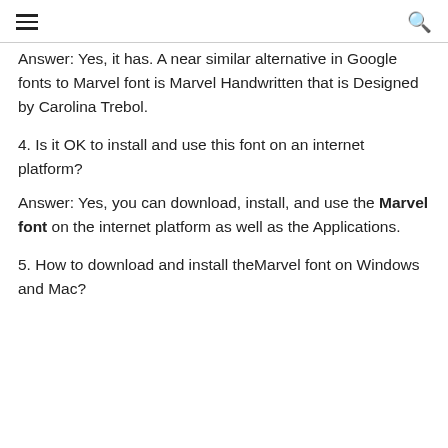≡  Q
Answer: Yes, it has. A near similar alternative in Google fonts to Marvel font is Marvel Handwritten that is Designed by Carolina Trebol.
4. Is it OK to install and use this font on an internet platform?
Answer: Yes, you can download, install, and use the Marvel font on the internet platform as well as the Applications.
5. How to download and install theMarvel font on Windows and Mac?